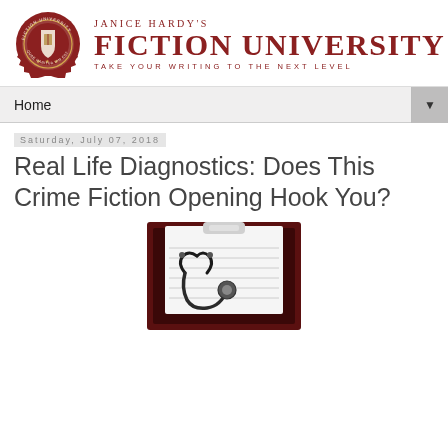[Figure (logo): Janice Hardy's Fiction University logo with seal and text: JANICE HARDY'S FICTION UNIVERSITY — TAKE YOUR WRITING TO THE NEXT LEVEL]
Home
Saturday, July 07, 2018
Real Life Diagnostics: Does This Crime Fiction Opening Hook You?
[Figure (illustration): A clipboard with lined paper and a stethoscope resting on it, against a dark background]